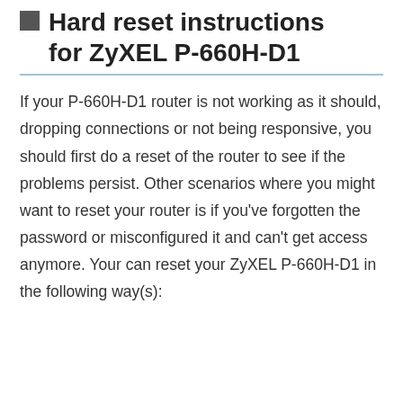Hard reset instructions for ZyXEL P-660H-D1
If your P-660H-D1 router is not working as it should, dropping connections or not being responsive, you should first do a reset of the router to see if the problems persist. Other scenarios where you might want to reset your router is if you've forgotten the password or misconfigured it and can't get access anymore. Your can reset your ZyXEL P-660H-D1 in the following way(s):